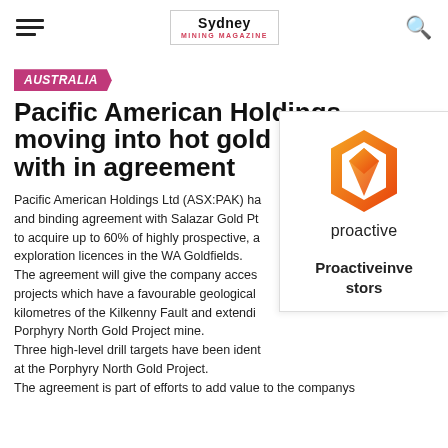Sydney Mining Magazine | Proactive
AUSTRALIA
Pacific American Holdings moving into hot gold space with in agreement
Pacific American Holdings Ltd (ASX:PAK) ha[s entered into a] and binding agreement with Salazar Gold P[ty Ltd] to acquire up to 60% of highly prospective, a[dvanced] exploration licences in the WA Goldfields. The agreement will give the company acces[s to gold] projects which have a favourable geological [setting] kilometres of the Kilkenny Fault and extendi[ng to the] Porphyry North Gold Project mine. Three high-level drill targets have been ident[ified] at the Porphyry North Gold Project. The agreement is part of efforts to add value to the companys
[Figure (logo): Proactive Investors logo — hexagon shape in orange/gold gradient with letter P inside, word 'proactive' below, and text 'Proactiveinvestors' at bottom]